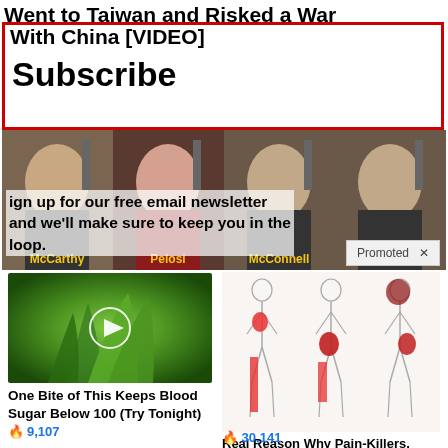Went to Taiwan and Risked a War With China [VIDEO]
Subscribe
Sign up for our free email newsletter and we'll make sure to keep you in the loop.
[Figure (photo): Four politicians in a 2x2 grid: McCarthy, Pelosi, McConnell, Schumer with names labeled in gold text]
Promoted ×
[Figure (photo): Video thumbnail of green vegetables/plant with play button overlay]
One Bite of This Keeps Blood Sugar Below 100 (Try Tonight)
🔥 9,107
[Figure (illustration): Medical illustration showing three human figures with red highlighted pain areas indicating sciatic nerve pain]
Real Reason Why Pain-Killers, Stretches, And Surgery Can't Stop Your Sciatic Nerve Pain
🔥 30,141